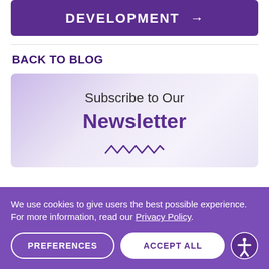DEVELOPMENT →
BACK TO BLOG
[Figure (infographic): Newsletter subscription box with gradient purple background showing 'Subscribe to Our Newsletter' text and a decorative wave pattern]
We use cookies to give users the best possible experience. For more information, read our Privacy Policy.
PREFERENCES
ACCEPT ALL